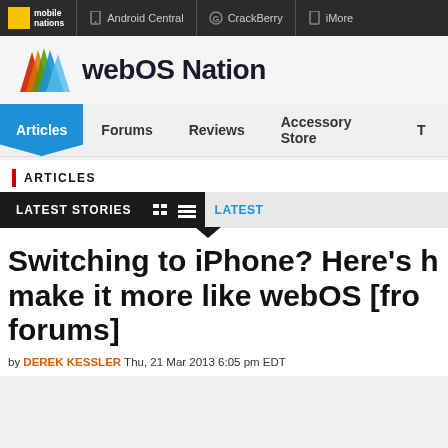mobile nations | Android Central | CrackBerry | iMore
webOS Nation
Articles | Forums | Reviews | Accessory Store | T...
ARTICLES
LATEST STORIES | LATEST
Switching to iPhone? Here's h make it more like webOS [fro forums]
by DEREK KESSLER Thu, 21 Mar 2013 6:05 pm EDT